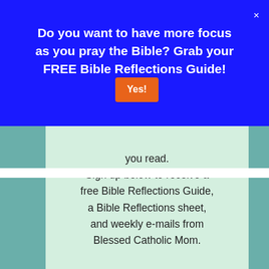Do you want to have more focus as you pray the Bible? Grab your FREE Bible Reflections Guide! Yes!
you read.
Sign up below to receive a free Bible Reflections Guide, a Bible Reflections sheet, and weekly e-mails from Blessed Catholic Mom.
We use cookies on our website to give you the most relevant experience by remembering your preferences and repeat visits. By clicking “Accept”, you consent to the use of ALL the cookies.
Do not sell my personal information.
Cookie Settings
Accept